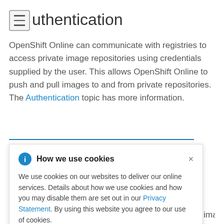Authentication
OpenShift Online can communicate with registries to access private image repositories using credentials supplied by the user. This allows OpenShift Online to push and pull images to and from private repositories. The Authentication topic has more information.
[Figure (other): Cookie consent popup overlay with info icon, title 'How we use cookies', close button, and body text explaining cookie usage with a link to Privacy Statement.]
image a hosted our own ed registry ication, image scanning, and the ability to roll back images.